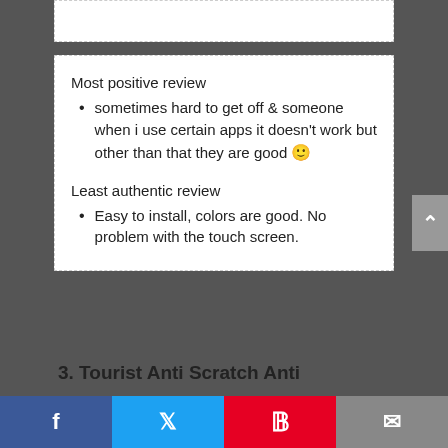Most positive review
sometimes hard to get off & someone when i use certain apps it doesn't work but other than that they are good 🙂
Least authentic review
Easy to install, colors are good. No problem with the touch screen.
3. Tourist Anti Scratch Anti
Facebook | Twitter | Pinterest | Email